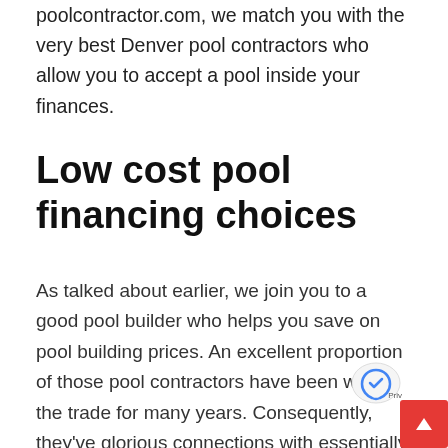poolcontractor.com, we match you with the very best Denver pool contractors who allow you to accept a pool inside your finances.
Low cost pool financing choices
As talked about earlier, we join you to a good pool builder who helps you save on pool building prices. An excellent proportion of those pool contractors have been within the trade for many years. Consequently, they've glorious connections with essentially the most dependable pool lenders in Denver. With them, you may simply discover the very best financing choice in your pool. After listening to all of your necessities, they may c all of the pool financing choices obtainable. When